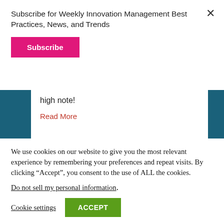Subscribe for Weekly Innovation Management Best Practices, News, and Trends
Subscribe
high note!
Read More
We use cookies on our website to give you the most relevant experience by remembering your preferences and repeat visits. By clicking “Accept”, you consent to the use of ALL the cookies.
Do not sell my personal information.
Cookie settings
ACCEPT